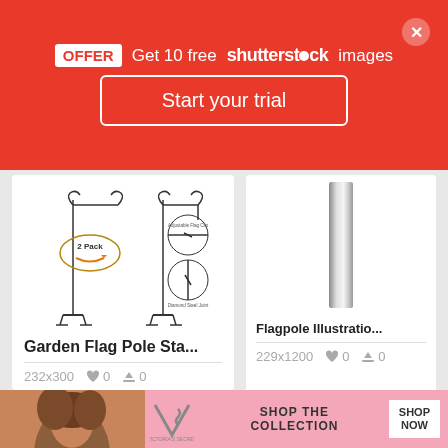[Figure (screenshot): Red promotional banner: OFFER Get 10 free shutterstock images. Start your trial button. Close X button.]
[Figure (photo): Garden Flag Pole Stand product image showing metal garden flag pole stands with 2 Pack Amazon label and detail circles showing adjustable flag clip and diamond steel joint]
Garden Flag Pole Sta...
232x300
[Figure (illustration): Flagpole illustration showing a silver metallic flagpole on white background]
Flagpole Illustratio...
229x1200
[Figure (illustration): Partial image of flagpole with curved line, bottom portion cut off by ad banner]
[Figure (screenshot): Victoria's Secret advertisement banner with woman photo, VS logo, SHOP THE COLLECTION text, and SHOP NOW button]